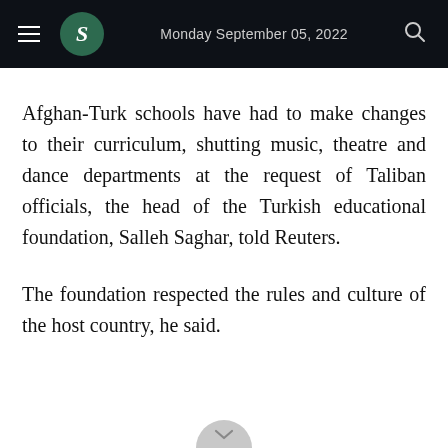Monday September 05, 2022
Afghan-Turk schools have had to make changes to their curriculum, shutting music, theatre and dance departments at the request of Taliban officials, the head of the Turkish educational foundation, Salleh Saghar, told Reuters.
The foundation respected the rules and culture of the host country, he said.